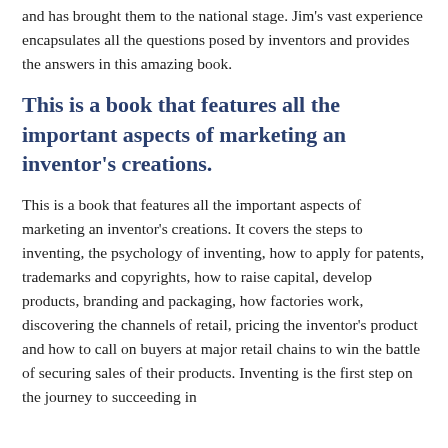and has brought them to the national stage. Jim's vast experience encapsulates all the questions posed by inventors and provides the answers in this amazing book.
This is a book that features all the important aspects of marketing an inventor's creations.
This is a book that features all the important aspects of marketing an inventor's creations. It covers the steps to inventing, the psychology of inventing, how to apply for patents, trademarks and copyrights, how to raise capital, develop products, branding and packaging, how factories work, discovering the channels of retail, pricing the inventor's product and how to call on buyers at major retail chains to win the battle of securing sales of their products. Inventing is the first step on the journey to succeeding in